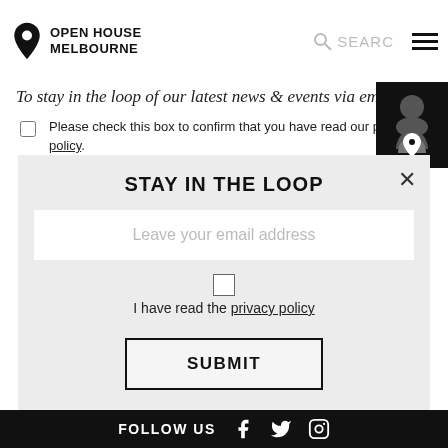Open House Melbourne
To stay in the loop of our latest news & events via email.
Please check this box to confirm that you have read our privacy policy.
STAY IN THE LOOP
Leave your email address
I have read the privacy policy
SUBMIT
FOLLOW US